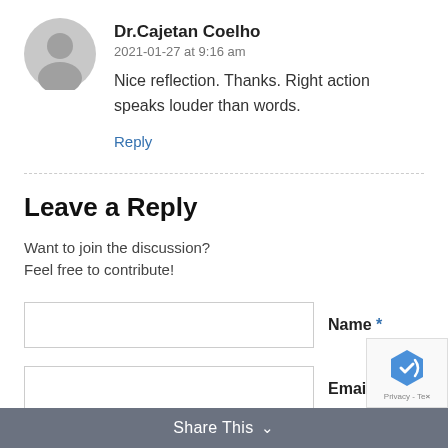Dr.Cajetan Coelho
2021-01-27 at 9:16 am
Nice reflection. Thanks. Right action speaks louder than words.
Reply
Leave a Reply
Want to join the discussion?
Feel free to contribute!
Name *
Email *
Share This